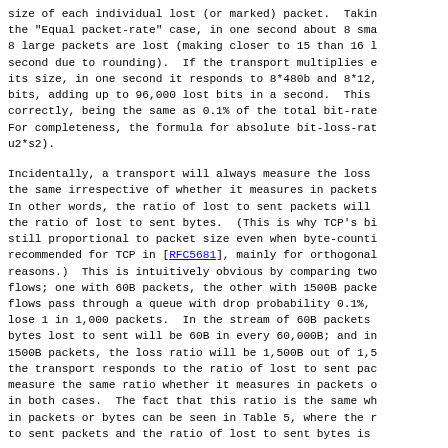size of each individual lost (or marked) packet.  Taking the "Equal packet-rate" case, in one second about 8 sma 8 large packets are lost (making closer to 15 than 16 l second due to rounding).  If the transport multiplies e its size, in one second it responds to 8*480b and 8*12, bits, adding up to 96,000 lost bits in a second.  This correctly, being the same as 0.1% of the total bit-rate For completeness, the formula for absolute bit-loss-rat u2*s2).
Incidentally, a transport will always measure the loss the same irrespective of whether it measures in packets In other words, the ratio of lost to sent packets will the ratio of lost to sent bytes.  (This is why TCP's bi still proportional to packet size even when byte-counti recommended for TCP in [RFC5681], mainly for orthogonal reasons.)  This is intuitively obvious by comparing two flows; one with 60B packets, the other with 1500B packe flows pass through a queue with drop probability 0.1%, lose 1 in 1,000 packets.  In the stream of 60B packets bytes lost to sent will be 60B in every 60,000B; and in 1500B packets, the loss ratio will be 1,500B out of 1,5 the transport responds to the ratio of lost to sent pac measure the same ratio whether it measures in packets o in both cases.  The fact that this ratio is the same wh in packets or bytes can be seen in Table 5, where the r to sent packets and the ratio of lost to sent bytes is